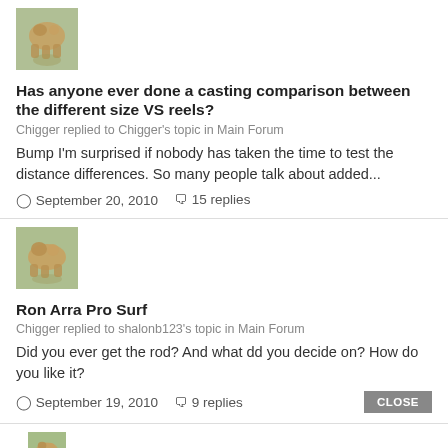[Figure (photo): Small avatar photo of a dog or animal on grass, top left of first post]
Has anyone ever done a casting comparison between the different size VS reels?
Chigger replied to Chigger's topic in Main Forum
Bump I'm surprised if nobody has taken the time to test the distance differences. So many people talk about added...
September 20, 2010  15 replies
[Figure (photo): Small avatar photo of a dog or animal on grass, top left of second post]
Ron Arra Pro Surf
Chigger replied to shalonb123's topic in Main Forum
Did you ever get the rod? And what dd you decide on? How do you like it?
September 19, 2010  9 replies
[Figure (photo): Small avatar photo of a dog or animal on grass, top left of third post (partially visible)]